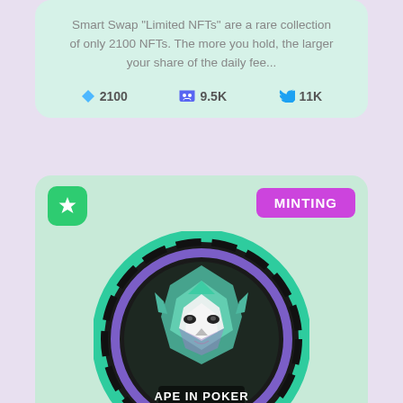Smart Swap "Limited NFTs" are a rare collection of only 2100 NFTs. The more you hold, the larger your share of the daily fee...
2100   9.5K   11K
[Figure (illustration): NFT card showing a poker chip with a low-poly ape face design labeled APE IN POKER, with a green star badge and a purple MINTING badge]